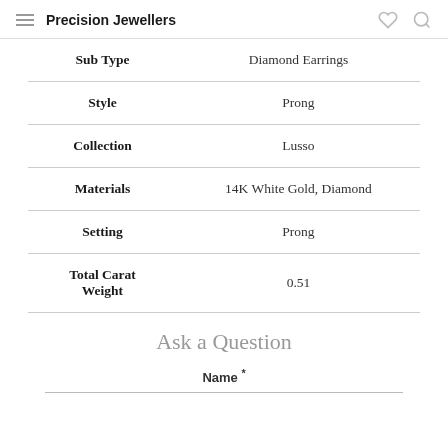Precision Jewellers
| Attribute | Value |
| --- | --- |
| Sub Type | Diamond Earrings |
| Style | Prong |
| Collection | Lusso |
| Materials | 14K White Gold, Diamond |
| Setting | Prong |
| Total Carat Weight | 0.51 |
Ask a Question
Name *